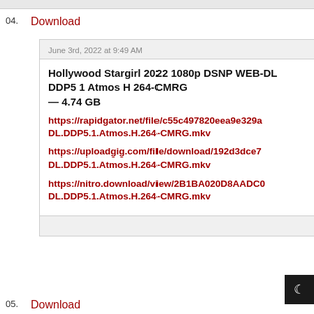04. Download
June 3rd, 2022 at 9:49 AM
Hollywood Stargirl 2022 1080p DSNP WEB-DL DDP5 1 Atmos H 264-CMRG — 4.74 GB
https://rapidgator.net/file/c55c497820eea9e329a DL.DDP5.1.Atmos.H.264-CMRG.mkv
https://uploadgig.com/file/download/192d3dce7 DL.DDP5.1.Atmos.H.264-CMRG.mkv
https://nitro.download/view/2B1BA020D8AADC0 DL.DDP5.1.Atmos.H.264-CMRG.mkv
05. Download